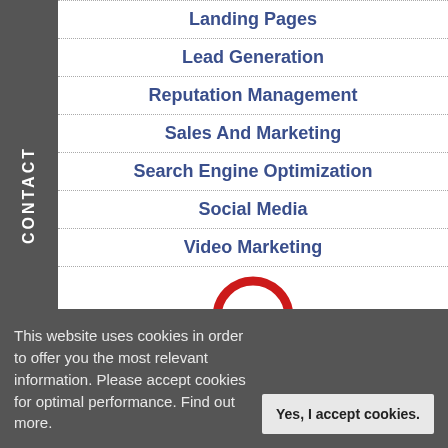Landing Pages
Lead Generation
Reputation Management
Sales And Marketing
Search Engine Optimization
Social Media
Video Marketing
[Figure (illustration): Red semicircle arc icon]
Business Content Archives
Business Content Archives
Select Month
This website uses cookies in order to offer you the most relevant information. Please accept cookies for optimal performance. Find out more.